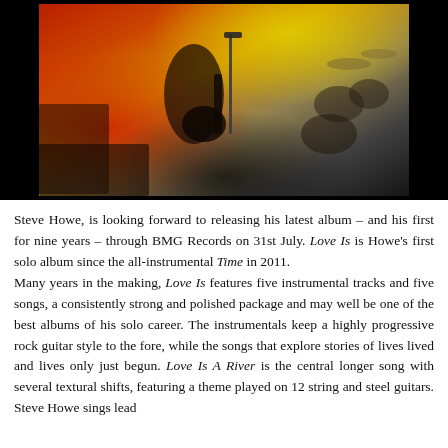[Figure (photo): Concert photo of a guitarist (Steve Howe) playing on stage with colorful stage lighting, yellow/green backdrop, drums visible in background, microphone stand in foreground]
Steve Howe, is looking forward to releasing his latest album – and his first for nine years – through BMG Records on 31st July. Love Is is Howe's first solo album since the all-instrumental Time in 2011.
Many years in the making, Love Is features five instrumental tracks and five songs, a consistently strong and polished package and may well be one of the best albums of his solo career. The instrumentals keep a highly progressive rock guitar style to the fore, while the songs that explore stories of lives lived and lives only just begun. Love Is A River is the central longer song with several textural shifts, featuring a theme played on 12 string and steel guitars. Steve Howe sings lead